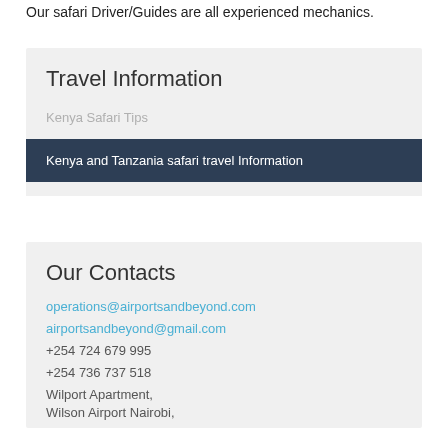Our safari Driver/Guides are all experienced mechanics.
Travel Information
Kenya Safari Tips
Kenya and Tanzania safari travel Information
Our Contacts
operations@airportsandbeyond.com
airportsandbeyond@gmail.com
+254 724 679 995
+254 736 737 518
Wilport Apartment,
Wilson Airport Nairobi,